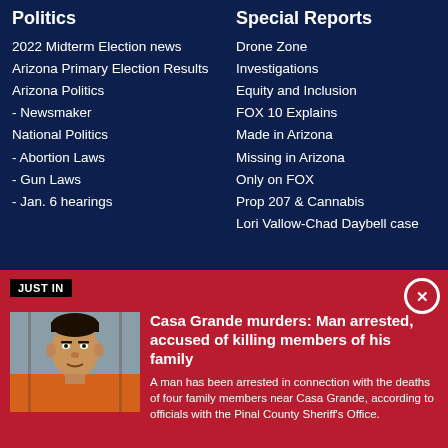Politics
2022 Midterm Election news
Arizona Primary Election Results
Arizona Politics
- Newsmaker
National Politics
- Abortion Laws
- Gun Laws
- Jan. 6 hearings
Special Reports
Drone Zone
Investigations
Equity and Inclusion
FOX 10 Explains
Made in Arizona
Missing in Arizona
Only on FOX
Prop 207 & Cannabis
Lori Vallow-Chad Daybell case
JUST IN
[Figure (photo): Mugshot photo of a man in orange jail clothing]
Casa Grande murders: Man arrested, accused of killing members of his family
A man has been arrested in connection with the deaths of four family members near Casa Grande, according to officials with the Pinal County Sheriff's Office.